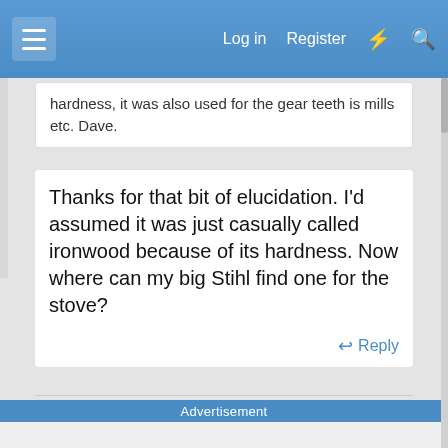Log in  Register
hardness, it was also used for the gear teeth is mills etc. Dave.
Thanks for that bit of elucidation. I'd assumed it was just casually called ironwood because of its hardness. Now where can my big Stihl find one for the stove?
Reply
Advertisement